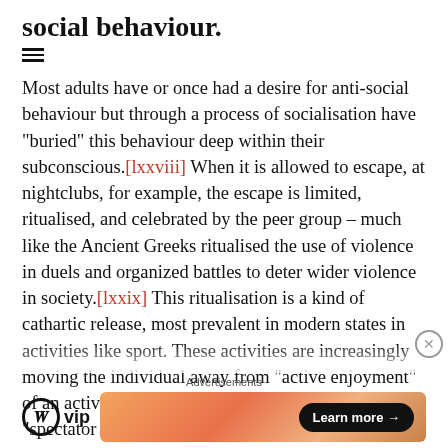social behaviour.
Most adults have or once had a desire for anti-social behaviour but through a process of socialisation have “buried” this behaviour deep within their subconscious.[lxxviii] When it is allowed to escape, at nightclubs, for example, the escape is limited, ritualised, and celebrated by the peer group – much like the Ancient Greeks ritualised the use of violence in duels and organized battles to deter wider violence in society.[lxxix] This ritualisation is a kind of cathartic release, most prevalent in modern states in activities like sport. These activities are increasingly moving the individual away from “active enjoyment” of an activity to a more ritualised and often indirect “spectator pleasure”– particularly with
Advertisements
[Figure (logo): WordPress VIP logo with text 'vip']
[Figure (infographic): Orange gradient advertisement banner with 'Learn more' button]